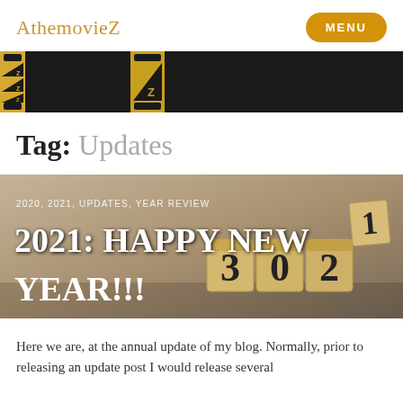AthemovieZ | MENU
[Figure (illustration): Film strip banner with repeating AZ logo blocks in gold and black]
Tag: Updates
[Figure (photo): Blog post hero image with wooden number blocks spelling 2021, overlaid with tags '2020, 2021, UPDATES, YEAR REVIEW' and large white title '2021: HAPPY NEW YEAR!!!']
Here we are, at the annual update of my blog. Normally, prior to releasing an update post I would release several